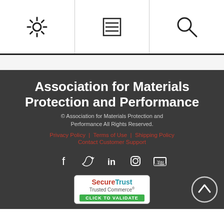[Figure (screenshot): Website header navigation bar with three icons: gear/settings, menu/list, and search magnifying glass, separated by vertical dividers, with a black underline below.]
Association for Materials Protection and Performance
© Association for Materials Protection and Performance All Rights Reserved.
Privacy Policy | Terms of Use | Shipping Policy
Contact Customer Support
[Figure (infographic): Social media icons row: Facebook, Twitter, LinkedIn, Instagram, YouTube]
[Figure (logo): SecureTrust Trusted Commerce CLICK TO VALIDATE badge]
[Figure (other): Scroll to top button — circle with upward chevron]